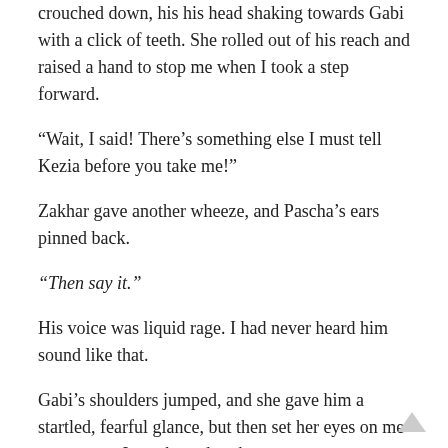crouched down, his his head shaking towards Gabi with a click of teeth. She rolled out of his reach and raised a hand to stop me when I took a step forward.
“Wait, I said! There’s something else I must tell Kezia before you take me!”
Zakhar gave another wheeze, and Pascha’s ears pinned back.
“Then say it.”
His voice was liquid rage. I had never heard him sound like that.
Gabi’s shoulders jumped, and she gave him a startled, fearful glance, but then set her eyes on me once more. I was bound to them.
“I’ve done another stupid thing,” she said. “Kezia, forgive me. I left Elan behind in Mother Forest’s territory.”
ELAN!
I raised my arms, for my head had just exploded with a cacophony of soundless noise, and I felt the sort rending feeling of falling away